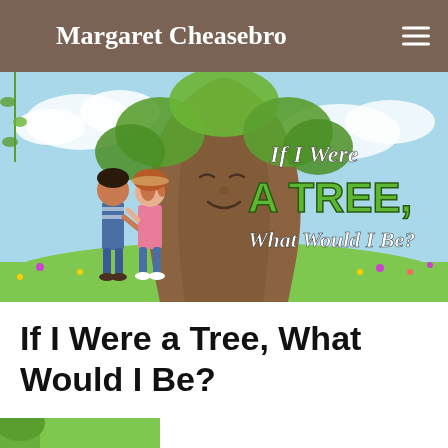Margaret Cheasebro
[Figure (illustration): Book cover illustration showing two children standing in front of a large tree with a face, in a meadow with flowers. Text on the cover reads 'If I Were A TREE, What Would I Be?' The title text is stylized with 'If I Were' in white italic, 'A TREE,' in large green bold letters, and 'What Would I Be?' in white italic.]
If I Were a Tree, What Would I Be?
[Figure (illustration): Partial bottom illustration visible, appears to be another book or page image cropped at the bottom edge.]